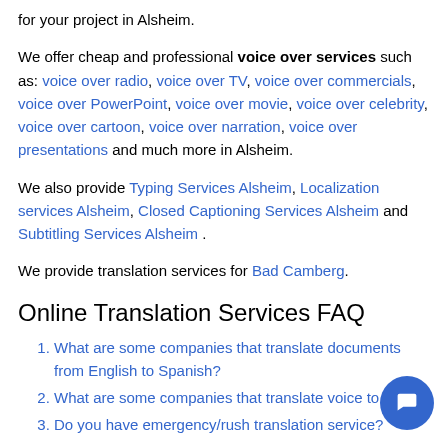for your project in Alsheim.
We offer cheap and professional voice over services such as: voice over radio, voice over TV, voice over commercials, voice over PowerPoint, voice over movie, voice over celebrity, voice over cartoon, voice over narration, voice over presentations and much more in Alsheim.
We also provide Typing Services Alsheim, Localization services Alsheim, Closed Captioning Services Alsheim and Subtitling Services Alsheim .
We provide translation services for Bad Camberg.
Online Translation Services FAQ
What are some companies that translate documents from English to Spanish?
What are some companies that translate voice to t...
Do you have emergency/rush translation service?